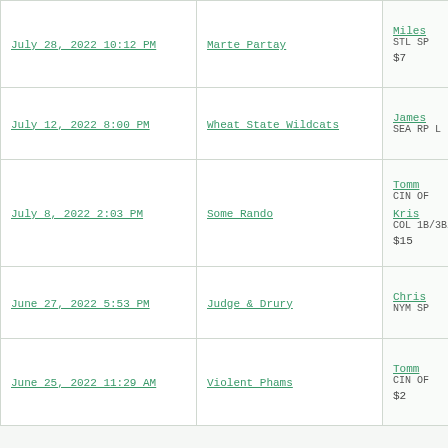| Date | Team/Opponent | Details |
| --- | --- | --- |
| July 28, 2022 10:12 PM | Marte Partay | Miles
STL SP

$7 |
| July 12, 2022 8:00 PM | Wheat State Wildcats | James
SEA RP L |
| July 8, 2022 2:03 PM | Some Rando | Tomm
CIN OF

Kris
COL 1B/3B/OF

$15 |
| June 27, 2022 5:53 PM | Judge & Drury | Chris
NYM SP |
| June 25, 2022 11:29 AM | Violent Phams | Tomm
CIN OF

$2 |